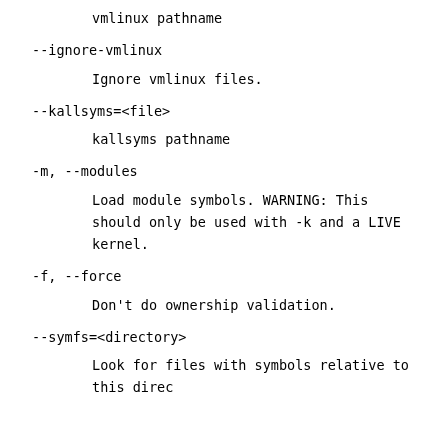vmlinux pathname
--ignore-vmlinux
        Ignore vmlinux files.
--kallsyms=<file>
        kallsyms pathname
-m, --modules
        Load module symbols. WARNING: This should only be used with -k and a LIVE kernel.
-f, --force
        Don't do ownership validation.
--symfs=<directory>
        Look for files with symbols relative to this directory.